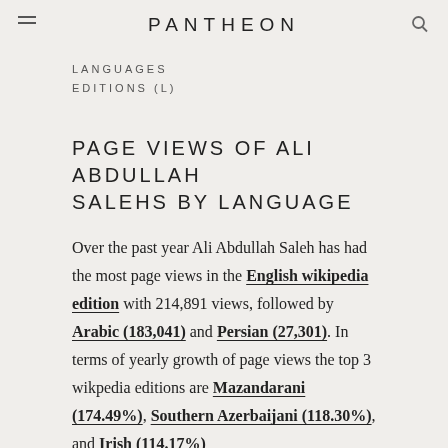PANTHEON
LANGUAGES
EDITIONS (L)
PAGE VIEWS OF ALI ABDULLAH SALEHS BY LANGUAGE
Over the past year Ali Abdullah Saleh has had the most page views in the English wikipedia edition with 214,891 views, followed by Arabic (183,041) and Persian (27,301). In terms of yearly growth of page views the top 3 wikpedia editions are Mazandarani (174.49%), Southern Azerbaijani (118.30%), and Irish (114.17%)